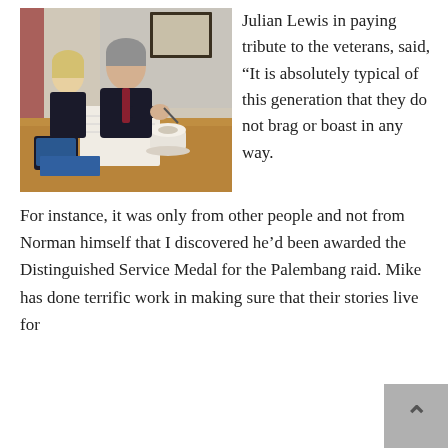[Figure (photo): Two people sitting at a wooden table; a man in a dark suit signing a document, and a young woman next to him. A framed picture hangs on the wall in the background. A coffee cup and tablet are visible on the table.]
Julian Lewis in paying tribute to the veterans, said, “It is absolutely typical of this generation that they do not brag or boast in any way. For instance, it was only from other people and not from Norman himself that I discovered he’d been awarded the Distinguished Service Medal for the Palembang raid. Mike has done terrific work in making sure that their stories live for